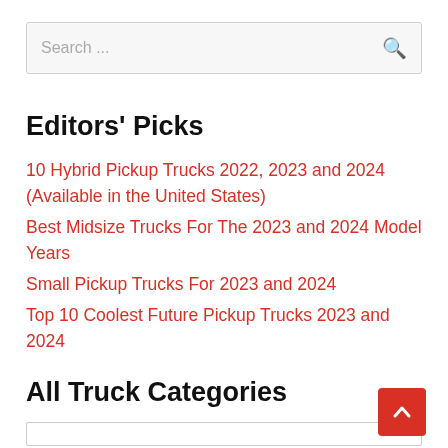Search ...
Editors' Picks
10 Hybrid Pickup Trucks 2022, 2023 and 2024 (Available in the United States)
Best Midsize Trucks For The 2023 and 2024 Model Years
Small Pickup Trucks For 2023 and 2024
Top 10 Coolest Future Pickup Trucks 2023 and 2024
All Truck Categories